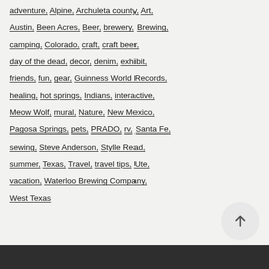adventure, Alpine, Archuleta county, Art, Austin, Been Acres, Beer, brewery, Brewing, camping, Colorado, craft, craft beer, day of the dead, decor, denim, exhibit, friends, fun, gear, Guinness World Records, healing, hot springs, Indians, interactive, Meow Wolf, mural, Nature, New Mexico, Pagosa Springs, pets, PRADO, rv, Santa Fe, sewing, Steve Anderson, Stylle Read, summer, Texas, Travel, travel tips, Ute, vacation, Waterloo Brewing Company, West Texas